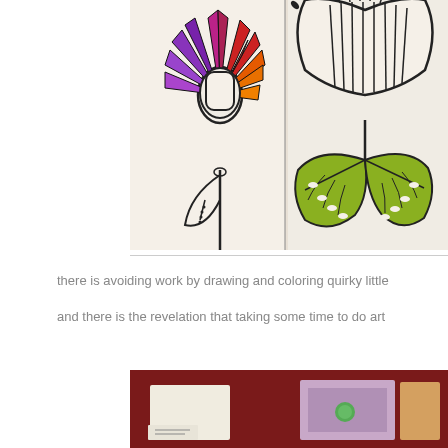[Figure (illustration): Colorful folk art style flower drawings on white paper. Left flower has rainbow/sunburst petals in red, orange, purple with a white center and uncolored leaf below. Right flower has white petals with black line detail and green leaves.]
there is avoiding work by drawing and coloring quirky little
and there is the revelation that taking some time to do art
[Figure (photo): Photo showing what appears to be stationery or cards on a dark red/maroon background, with some items that have a speckled pattern.]